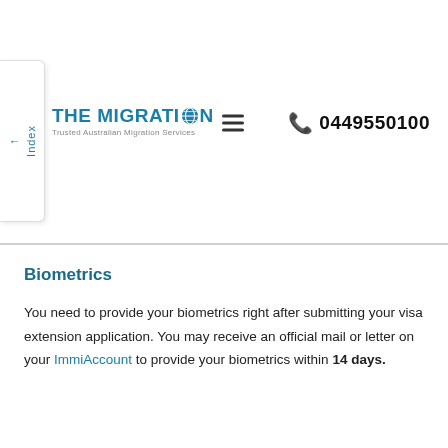[Figure (logo): The Migration - Trusted Australian Migration Services logo with teal text and globe icon]
☰  📞 0449550100
Biometrics
You need to provide your biometrics right after submitting your visa extension application. You may receive an official mail or letter on your ImmiAccount to provide your biometrics within 14 days.